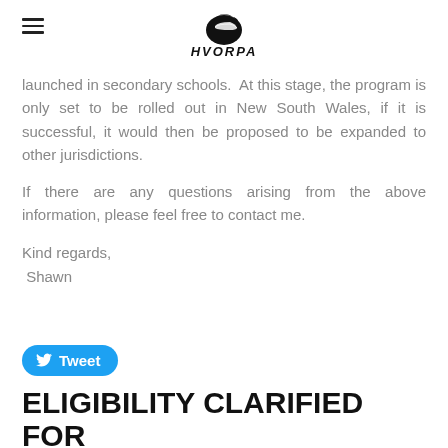HVORPA (logo with helmet icon)
launched in secondary schools. At this stage, the program is only set to be rolled out in New South Wales, if it is successful, it would then be proposed to be expanded to other jurisdictions.
If there are any questions arising from the above information, please feel free to contact me.
Kind regards,
Shawn
[Figure (other): Tweet button (Twitter/X share button)]
ELIGIBILITY CLARIFIED FOR